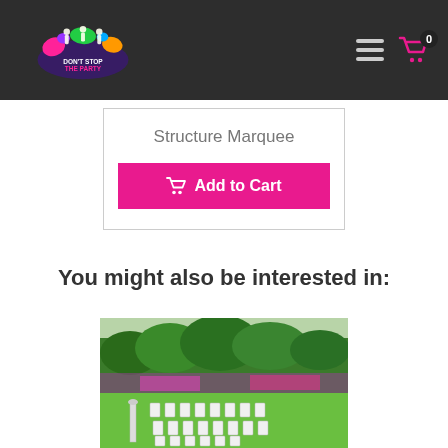Don't Stop The Party - Navigation header with logo, hamburger menu, and cart icon showing 0 items
Structure Marquee
Add to Cart
You might also be interested in:
[Figure (photo): Outdoor garden venue with rows of white plastic chairs arranged on green lawn, surrounded by colorful flowering bushes and trees in the background]